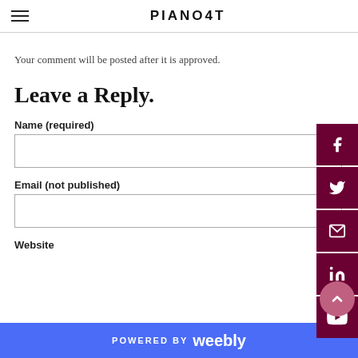PIANO4T
Your comment will be posted after it is approved.
Leave a Reply.
Name (required)
Email (not published)
Website
POWERED BY weebly